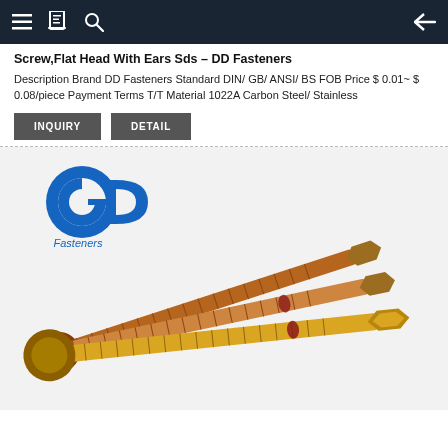Navigation bar with hamburger menu, book icon, search icon, and back arrow
Screw,Flat Head With Ears Sds – DD Fasteners
Description Brand DD Fasteners Standard DIN/ GB/ ANSI/ BS FOB Price $ 0.01~ $ 0.08/piece Payment Terms T/T Material 1022A Carbon Steel/ Stainless
[Figure (photo): Product photo of flat head screws with ears (SDS screws) from DD Fasteners, showing three zinc-plated screws with flanged heads and threaded shafts arranged diagonally on white background. GD Fasteners logo visible in top-left of image.]